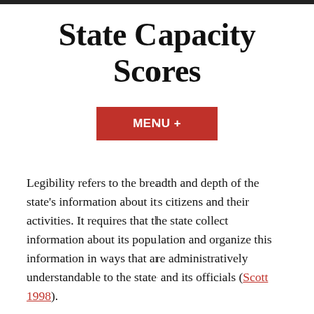State Capacity Scores
[Figure (other): Red button labeled MENU +]
Legibility refers to the breadth and depth of the state’s information about its citizens and their activities. It requires that the state collect information about its population and organize this information in ways that are administratively understandable to the state and its officials (Scott 1998).
We argue that state capacity depends on “legibility,” or the breadth and depth of the state’s information about its citizens